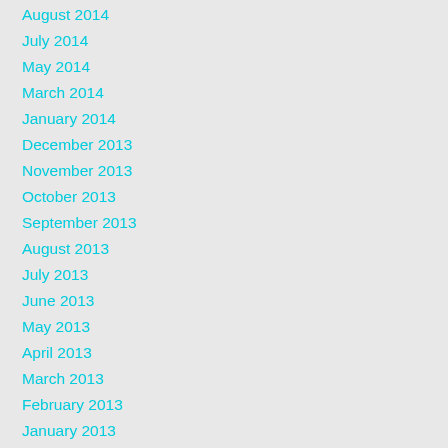August 2014
July 2014
May 2014
March 2014
January 2014
December 2013
November 2013
October 2013
September 2013
August 2013
July 2013
June 2013
May 2013
April 2013
March 2013
February 2013
January 2013
December 2012
Categories